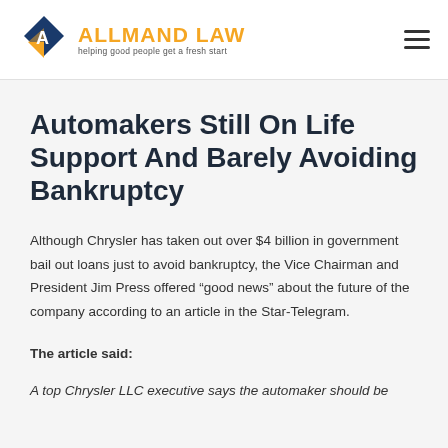[Figure (logo): Allmand Law logo with diamond shape icon and tagline 'helping good people get a fresh start']
Automakers Still On Life Support And Barely Avoiding Bankruptcy
Although Chrysler has taken out over $4 billion in government bail out loans just to avoid bankruptcy, the Vice Chairman and President Jim Press offered “good news” about the future of the company according to an article in the Star-Telegram.
The article said:
A top Chrysler LLC executive says the automaker should be